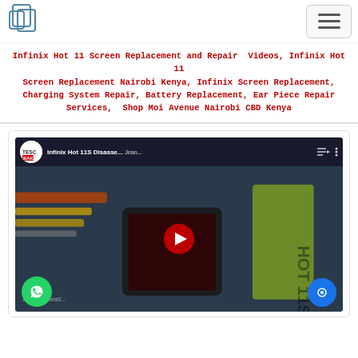[Figure (logo): Website logo with overlapping document icons]
[Figure (other): Hamburger menu navigation button]
Infinix Hot 11 Screen Replacement and Repair  Videos, Infinix Hot 11 Screen Replacement Nairobi Kenya, Infinix Screen Replacement, Charging System Repair, Battery Replacement, Ear Piece Repair Services,  Shop Moi Avenue Nairobi CBD Kenya
[Figure (screenshot): YouTube video thumbnail showing Infinix Hot 11S Disassembly video by TESC BAIG channel, with phone repair tools on a blue background and a red YouTube play button]